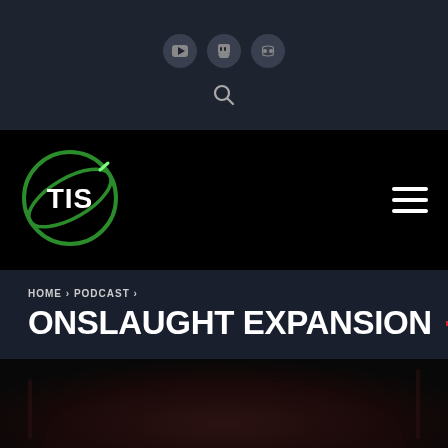Social media icons and search bar
[Figure (logo): TIS logo - circular green orbit with TIS text inside on black background]
HOME > PODCAST >
ONSLAUGHT EXPANSION
[Figure (photo): Dark background image, partially visible at bottom of page]